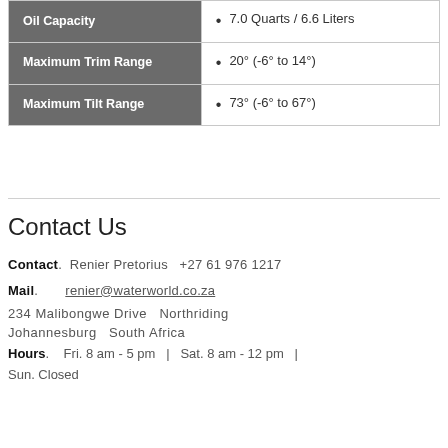| Property | Value |
| --- | --- |
| Oil Capacity | 7.0 Quarts / 6.6 Liters |
| Maximum Trim Range | 20° (-6° to 14°) |
| Maximum Tilt Range | 73° (-6° to 67°) |
Contact Us
Contact. Renier Pretorius +27 61 976 1217
Mail. renier@waterworld.co.za
234 Malibongwe Drive Northriding
Johannesburg South Africa
Hours. Fri. 8 am - 5 pm | Sat. 8 am - 12 pm | Sun. Closed